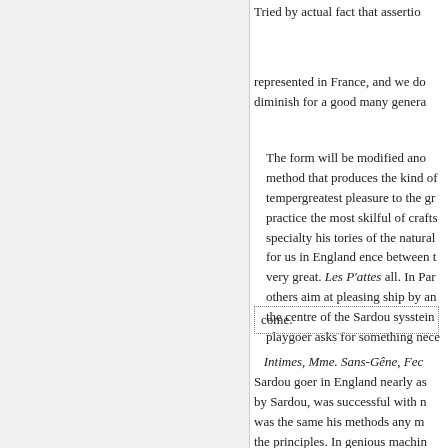Tried by actual fact that assertion represented in France, and we do diminish for a good many genera The form will be modified and method that produces the kind of tempergreatest pleasure to the gr practice the most skilful of crafts specialty his tories of the natural for us in England ence between t very great. Les P'attes all. In Par others aim at pleasing ship by an the centre of the Sardou sysstein playgoer asks for something nece
come.
Intimes, Mme. Sans-Gêne, Fec Sardou goer in England nearly as by Sardou, was successful with n was the same his methods any m the principles. In genious machin material. It was as if an inand in Scribe was superior to Sardou, w